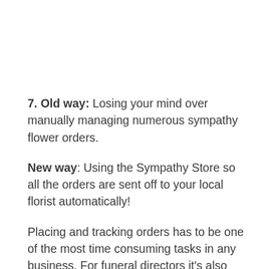7. Old way: Losing your mind over manually managing numerous sympathy flower orders.
New way: Using the Sympathy Store so all the orders are sent off to your local florist automatically!
Placing and tracking orders has to be one of the most time consuming tasks in any business. For funeral directors it's also one of the most personal – an incorrect or missing order can really impact a grieving family. Luckily with a beautiful Sympathy Store on your website, all the ordering is automated and out of your hands.